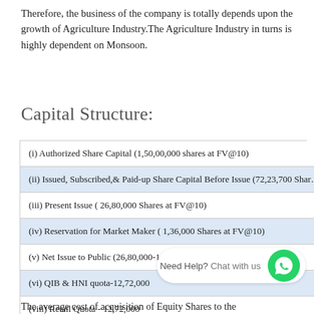Therefore, the business of the company is totally depends upon the growth of Agriculture Industry.The Agriculture Industry in turns is highly dependent on Monsoon.
Capital Structure:
| (i) Authorized Share Capital (1,50,00,000 shares at FV@10) |
| (ii) Issued, Subscribed,& Paid-up Share Capital Before Issue (72,23,700 Shar... |
| (iii) Present Issue (  26,80,000 Shares at FV@10) |
| (iv) Reservation for Market Maker  ( 1,36,000 Shares at FV@10) |
| (v) Net Issue to Public (26,80,000-1,36,000=  25,44,000 Shares) |
| (vi) QIB & HNI quota-12,72,000 |
| (viii) Retail Quota - 12,72,000 |
| (ix) Paid Up Share Capital after t... |
The average cost of acquisition of Equity Shares to the